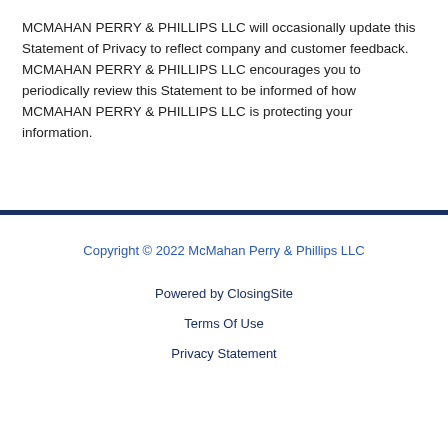MCMAHAN PERRY & PHILLIPS LLC will occasionally update this Statement of Privacy to reflect company and customer feedback. MCMAHAN PERRY & PHILLIPS LLC encourages you to periodically review this Statement to be informed of how MCMAHAN PERRY & PHILLIPS LLC is protecting your information.
Copyright © 2022 McMahan Perry & Phillips LLC
Powered by ClosingSite
Terms Of Use
Privacy Statement